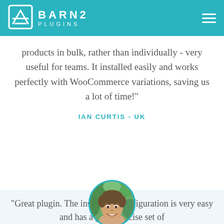BARN2 PLUGINS
products in bulk, rather than individually - very useful for teams. It installed easily and works perfectly with WooCommerce variations, saving us a lot of time!"
IAN CURTIS - UK
[Figure (photo): Circular portrait photo of Ian Curtis, a smiling man, with a teal border]
"Great plugin. The install and configuration is very easy and has a good concise set of